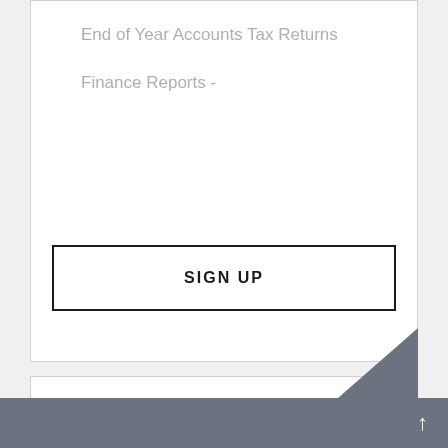End of Year Accounts
Tax Returns
Finance Reports
-
SIGN UP
PLATINUM